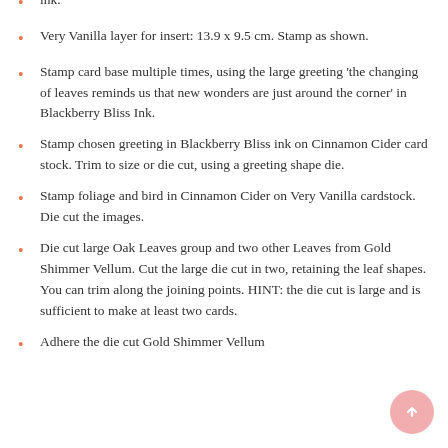ink.
Very Vanilla layer for insert: 13.9 x 9.5 cm. Stamp as shown.
Stamp card base multiple times, using the large greeting 'the changing of leaves reminds us that new wonders are just around the corner' in Blackberry Bliss Ink.
Stamp chosen greeting in Blackberry Bliss ink on Cinnamon Cider card stock. Trim to size or die cut, using a greeting shape die.
Stamp foliage and bird in Cinnamon Cider on Very Vanilla cardstock. Die cut the images.
Die cut large Oak Leaves group and two other Leaves from Gold Shimmer Vellum. Cut the large die cut in two, retaining the leaf shapes. You can trim along the joining points. HINT: the die cut is large and is sufficient to make at least two cards.
Adhere the die cut Gold Shimmer Vellum